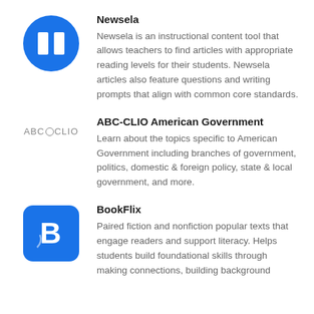[Figure (logo): Newsela blue circle logo with two white rectangles]
Newsela
Newsela is an instructional content tool that allows teachers to find articles with appropriate reading levels for their students. Newsela articles also feature questions and writing prompts that align with common core standards.
[Figure (logo): ABC-CLIO text logo with globe icon between ABC and CLIO]
ABC-CLIO American Government
Learn about the topics specific to American Government including branches of government, politics, domestic & foreign policy, state & local government, and more.
[Figure (logo): BookFlix blue rounded square logo with white letter B]
BookFlix
Paired fiction and nonfiction popular texts that engage readers and support literacy. Helps students build foundational skills through making connections, building background...